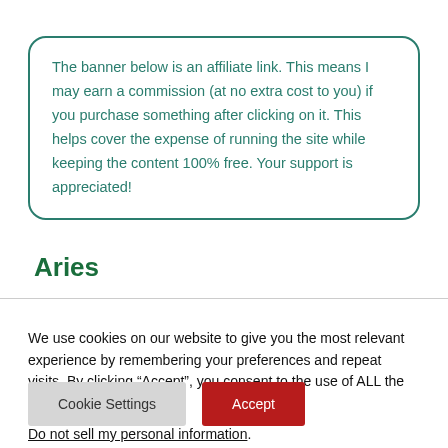The banner below is an affiliate link. This means I may earn a commission (at no extra cost to you) if you purchase something after clicking on it. This helps cover the expense of running the site while keeping the content 100% free. Your support is appreciated!
Aries
We use cookies on our website to give you the most relevant experience by remembering your preferences and repeat visits. By clicking “Accept”, you consent to the use of ALL the cookies.
Do not sell my personal information.